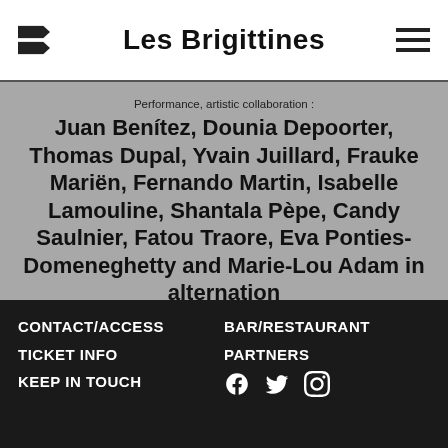Les Brigittines
Performance, artistic collaboration :
Juan Benítez, Dounia Depoorter, Thomas Dupal, Yvain Juillard, Frauke Mariën, Fernando Martin, Isabelle Lamouline, Shantala Pèpe, Candy Saulnier, Fatou Traore, Eva Ponties-Domeneghetty and Marie-Lou Adam in alternation
Figures, costumes, scenography :
Natacha Belova
Vocal creation :
Jean Fürst
Sound creation :
Thomas Turine
Light :
Patrick Bonté
Make up, wigs :
Rebecca Flores-Martinez
CONTACT/ACCESS  BAR/RESTAURANT  TICKET INFO  PARTNERS  KEEP IN TOUCH